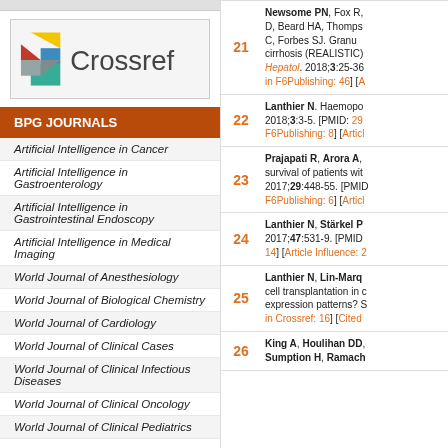[Figure (logo): Crossref logo with colorful geometric shapes and 'Crossref' text]
BPG JOURNALS
Artificial Intelligence in Cancer
Artificial Intelligence in Gastroenterology
Artificial Intelligence in Gastrointestinal Endoscopy
Artificial Intelligence in Medical Imaging
World Journal of Anesthesiology
World Journal of Biological Chemistry
World Journal of Cardiology
World Journal of Clinical Cases
World Journal of Clinical Infectious Diseases
World Journal of Clinical Oncology
World Journal of Clinical Pediatrics
| Ref# | Citation |
| --- | --- |
| 21 | Newsome PN, Fox R, D, Beard HA, Thomps C, Forbes SJ. Granu cirrhosis (REALISTIC) Hepatol. 2018;3:25-36 in F6Publishing: 46] [A |
| 22 | Lanthier N. Haemop 2018;3:3-5. [PMID: 29 F6Publishing: 8] [Artic |
| 23 | Prajapati R, Arora A, survival of patients wit 2017;29:448-55. [PMID F6Publishing: 6] [Artic |
| 24 | Lanthier N, Stärkel P 2017;47:531-9. [PMID 14] [Article Influence: 2 |
| 25 | Lanthier N, Lin-Marq cell transplantation in c expression patterns? S in Crossref: 16] [Cited |
| 26 | King A, Houlihan DD, Sumption H, Ramach |